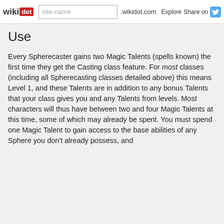wikidot | site-name .wikidot.com | Explore | Share on
Use
Every Spherecaster gains two Magic Talents (spells known) the first time they get the Casting class feature. For most classes (including all Spherecasting classes detailed above) this means Level 1, and these Talents are in addition to any bonus Talents that your class gives you and any Talents from levels. Most characters will thus have between two and four Magic Talents at this time, some of which may already be spent. You must spend one Magic Talent to gain access to the base abilities of any Sphere you don't already possess, and